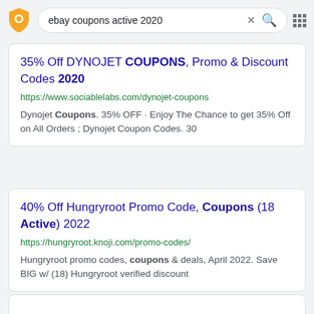[Figure (screenshot): Search bar with shield/lock icon on left, search query 'ebay coupons active 2020', X close button, red search icon, and grid menu icon on right]
35% Off DYNOJET COUPONS, Promo & Discount Codes 2020
https://www.sociablelabs.com/dynojet-coupons
Dynojet Coupons. 35% OFF · Enjoy The Chance to get 35% Off on All Orders ; Dynojet Coupon Codes. 30
40% Off Hungryroot Promo Code, Coupons (18 Active) 2022
https://hungryroot.knoji.com/promo-codes/
Hungryroot promo codes, coupons & deals, April 2022. Save BIG w/ (18) Hungryroot verified discount